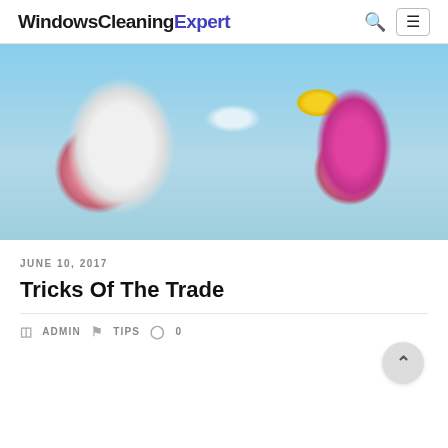WindowsCleaningExpert
[Figure (photo): Hands in pink rubber gloves holding a soapy white sponge and a yellow-and-pink spray bottle, spraying liquid on a window surface with foam and water droplets visible.]
JUNE 10, 2017
Tricks Of The Trade
ADMIN   TIPS   0